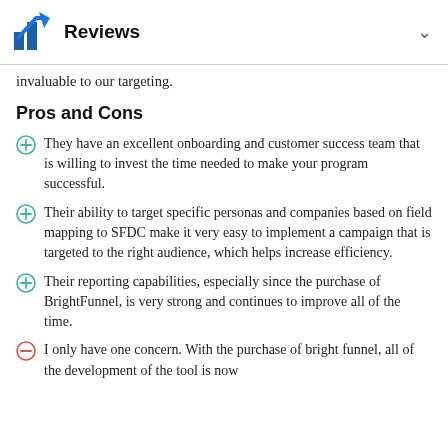Reviews
invaluable to our targeting.
Pros and Cons
They have an excellent onboarding and customer success team that is willing to invest the time needed to make your program successful.
Their ability to target specific personas and companies based on field mapping to SFDC make it very easy to implement a campaign that is targeted to the right audience, which helps increase efficiency.
Their reporting capabilities, especially since the purchase of BrightFunnel, is very strong and continues to improve all of the time.
I only have one concern. With the purchase of bright funnel, all of the development of the tool is now...